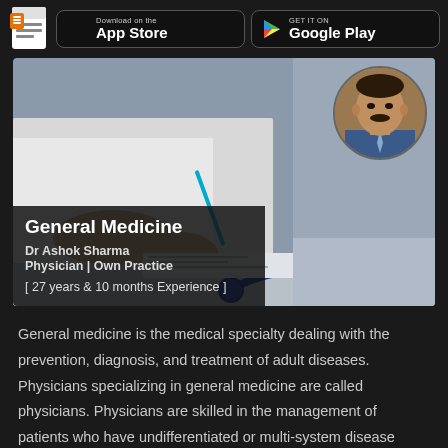Download on the App Store | GET IT ON Google Play
[Figure (photo): Doctor in white coat writing at desk with stethoscope, with inset portrait of Dr Ashok Sharma]
General Medicine
Dr Ashok Sharma
Physician | Own Practice
[ 27 years & 10 months Experience ]
General medicine is the medical specialty dealing with the prevention, diagnosis, and treatment of adult diseases. Physicians specializing in general medicine are called physicians. Physicians are skilled in the management of patients who have undifferentiated or multi-system disease processes.